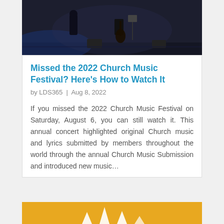[Figure (photo): Musicians performing on stage with a cellist visible, dark stage background with blue lighting and music stands]
Missed the 2022 Church Music Festival? Here's How to Watch It
by LDS365  |  Aug 8, 2022
If you missed the 2022 Church Music Festival on Saturday, August 6, you can still watch it. This annual concert highlighted original Church music and lyrics submitted by members throughout the world through the annual Church Music Submission and introduced new music…
[Figure (other): Yellow/golden banner at bottom of page with white decorative elements]